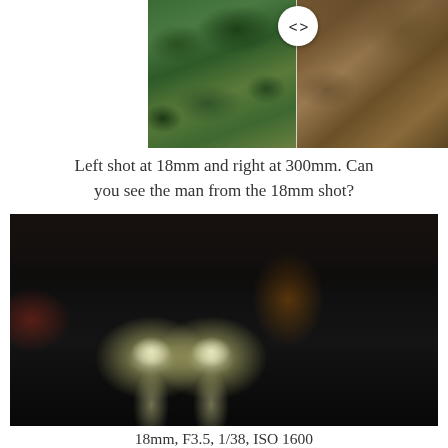[Figure (photo): Side-by-side aerial comparison photo with a slider control. Left side shows an aerial shot at 18mm with green trees, forest and urban areas. Right side shows the same scene at 300mm showing a brownish open field. A circular slider button with angle brackets < > appears in the center.]
Left shot at 18mm and right at 300mm. Can you see the man from the 18mm shot?
[Figure (photo): Night scene photo of a rainy parking lot or street. A dark car with bright headlights facing the camera is centered. The wet pavement reflects the lights. Other cars and structures are visible in the dark background. Orange/red lights visible on the left side.]
18mm, F3.5, 1/38, ISO 1600